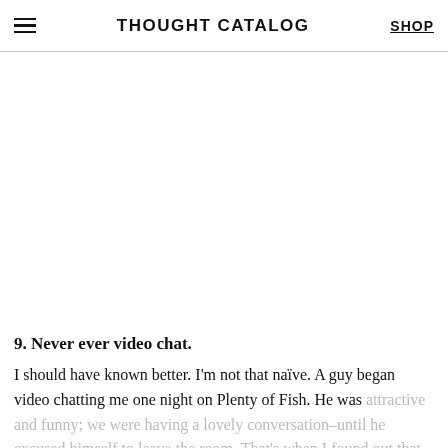THOUGHT CATALOG | SHOP
9. Never ever video chat.
I should have known better. I'm not that naïve. A guy began video chatting me one night on Plenty of Fish. He was attractive and funny; we were having a lovely conversation–until he excused himself to leave the room. That's when I found out that beyond the video frame he was buck naked.